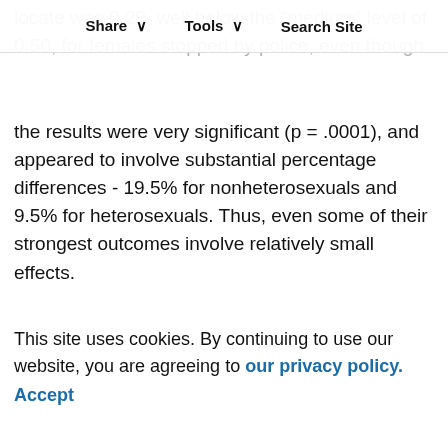Share   Tools   Search Site
locate was 0.29, well below the "medium" level of 0.50, for females stopped by police, even though the results were very significant (p = .0001), and appeared to involve substantial percentage differences - 19.5% for nonheterosexuals and 9.5% for heterosexuals. Thus, even some of their strongest outcomes involve relatively small effects.
Second, their results minimize the differences between bisexuals and homosexuals. If one compares only those adolescents who were 100% homosexual or mostly homosexual (N = 227) versus those who were 100% heterosexual (N = 13,490) as shown in Appendix 2 (p. 56), the differences for expulsion from school (ES = 0.06), juvenile convictions (ES = 0.07), and adult
This site uses cookies. By continuing to use our website, you are agreeing to our privacy policy. Accept